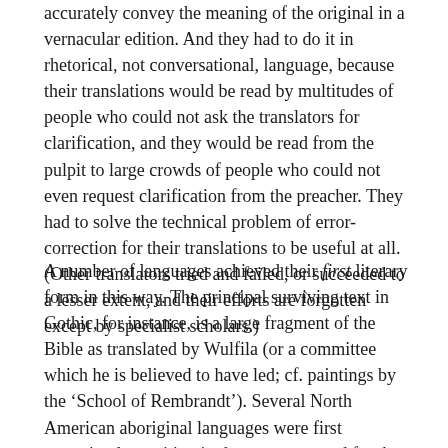accurately convey the meaning of the original in a vernacular edition. And they had to do it in rhetorical, not conversational, language, because their translations would be read by multitudes of people who could not ask the translators for clarification, and they would be read from the pulpit to large crowds of people who could not even request clarification from the preacher. They had to solve the technical problem of error-correction for their translations to be useful at all. (Other translators tried and failed, or succeeded to a lesser extent, and their efforts are forgotten except by specialist scholars.)
A number of languages achieved their first literary form in this way. The principal surviving text in Gothic, for instance, is a large fragment of the Bible as translated by Wulfila (or a committee which he is believed to have led; cf. paintings by the ‘School of Rembrandt’). Several North American aboriginal languages were first committed to writing in the same way and for the same reason. In each case, the dialect employed in the translation became a standard reference point for the later